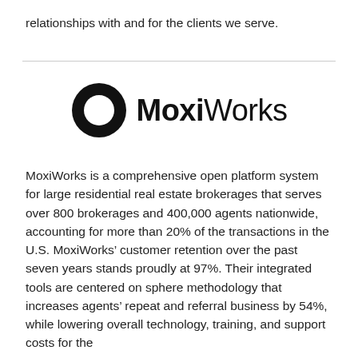relationships with and for the clients we serve.
[Figure (logo): MoxiWorks logo — circular ring icon followed by the wordmark 'MoxiWorks' in bold/light mixed weight sans-serif]
MoxiWorks is a comprehensive open platform system for large residential real estate brokerages that serves over 800 brokerages and 400,000 agents nationwide, accounting for more than 20% of the transactions in the U.S. MoxiWorks’ customer retention over the past seven years stands proudly at 97%. Their integrated tools are centered on sphere methodology that increases agents’ repeat and referral business by 54%, while lowering overall technology, training, and support costs for the